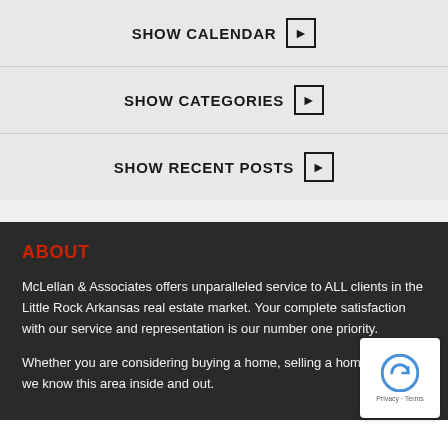SHOW CALENDAR ▶
SHOW CATEGORIES ▶
SHOW RECENT POSTS ▶
ABOUT
McLellan & Associates offers unparalleled service to ALL clients in the Little Rock Arkansas real estate market. Your complete satisfaction with our service and representation is our number one priority.
Whether you are considering buying a home, selling a home or both, we know this area inside and out.